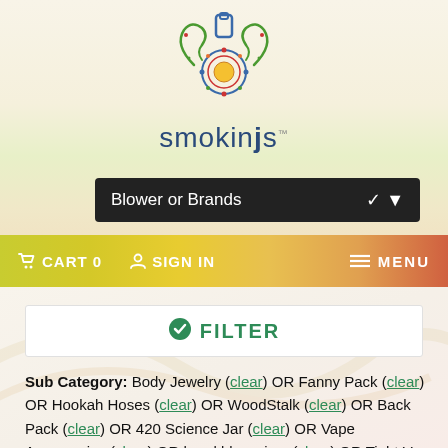[Figure (logo): SmokinJS logo with decorative green swirl design and blue pipe icon above the brand name 'smokinjs']
Blower or Brands
CART 0   SIGN IN   MENU
FILTER
Sub Category: Body Jewelry (clear) OR Fanny Pack (clear) OR Hookah Hoses (clear) OR WoodStalk (clear) OR Back Pack (clear) OR 420 Science Jar (clear) OR Vape Accessories (clear) OR hand blown jars (clear) OR Tight Vac (clear) OR Pendants (clear) OR Pot Leaf (clear) OR Zippo Lighter (clear)